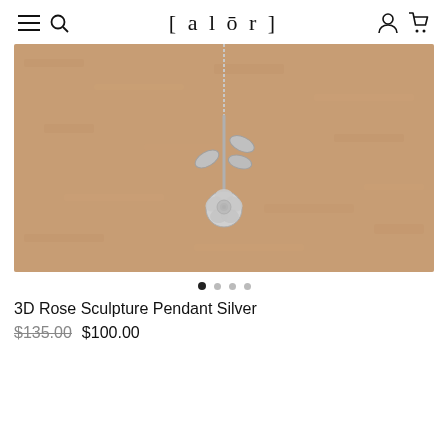[alōr]
[Figure (photo): Silver 3D rose sculpture pendant necklace hanging against a terracotta/sandy beige textured wall. The pendant features a detailed rose blossom at the bottom with a stem and silver leaves above it.]
3D Rose Sculpture Pendant Silver
$135.00  $100.00